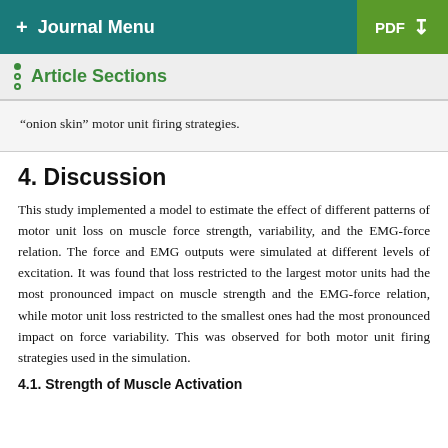+ Journal Menu   PDF ↓
Article Sections
“onion skin” motor unit firing strategies.
4. Discussion
This study implemented a model to estimate the effect of different patterns of motor unit loss on muscle force strength, variability, and the EMG-force relation. The force and EMG outputs were simulated at different levels of excitation. It was found that loss restricted to the largest motor units had the most pronounced impact on muscle strength and the EMG-force relation, while motor unit loss restricted to the smallest ones had the most pronounced impact on force variability. This was observed for both motor unit firing strategies used in the simulation.
4.1. Strength of Muscle Activation